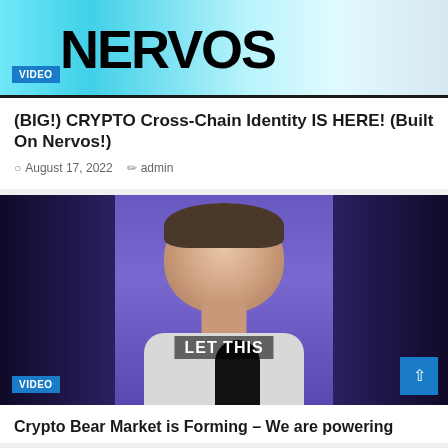[Figure (screenshot): Video thumbnail with cyan/teal background showing NERVOS text in large bold black letters, with VIDEO badge in blue at bottom left]
(BIG!) CRYPTO Cross-Chain Identity IS HERE! (Built On Nervos!)
August 17, 2022   admin
[Figure (screenshot): Video thumbnail showing a man's face with dark purple/blue background, text overlay 'LET THIS', VIDEO badge at bottom left, scroll-to-top blue button at bottom right]
Crypto Bear Market is Forming – We are powering